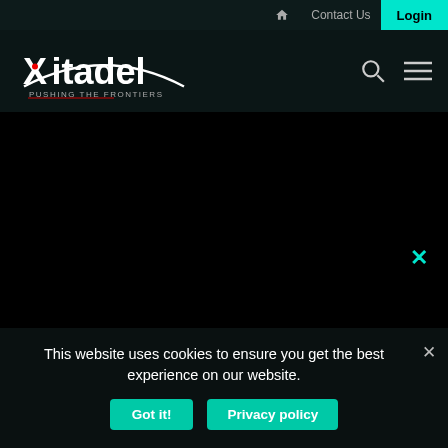🏠 Contact Us Login
[Figure (logo): Xitadel logo with tagline 'PUSHING THE FRONTIERS', search icon and hamburger menu icon]
✕
This website uses cookies to ensure you get the best experience on our website.
Got it!  Privacy policy  ✕